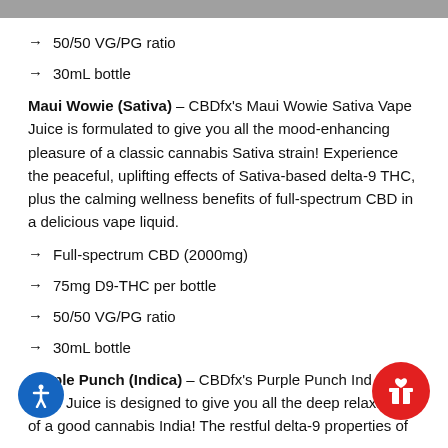50/50 VG/PG ratio
30mL bottle
Maui Wowie (Sativa) – CBDfx's Maui Wowie Sativa Vape Juice is formulated to give you all the mood-enhancing pleasure of a classic cannabis Sativa strain! Experience the peaceful, uplifting effects of Sativa-based delta-9 THC, plus the calming wellness benefits of full-spectrum CBD in a delicious vape liquid.
Full-spectrum CBD (2000mg)
75mg D9-THC per bottle
50/50 VG/PG ratio
30mL bottle
Purple Punch (Indica) – CBDfx's Purple Punch Indica Vape Juice is designed to give you all the deep relaxation of a good cannabis India! The restful delta-9 properties of